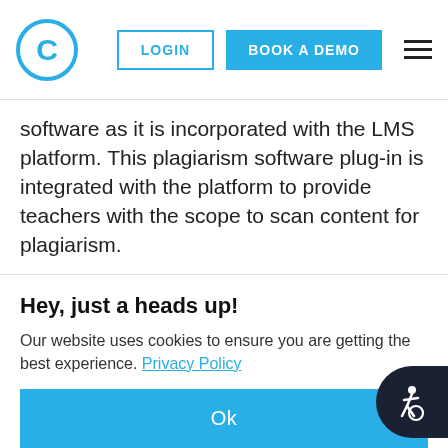C | LOGIN | BOOK A DEMO
software as it is incorporated with the LMS platform. This plagiarism software plug-in is integrated with the platform to provide teachers with the scope to scan content for plagiarism.
Any content that gets presented through the LMS platform can be checked with the plagiarism checker automatically. The brief plagiarism report helps in removing duplicate content from a paper.
Hey, just a heads up!
Our website uses cookies to ensure you are getting the best experience. Privacy Policy
Ok